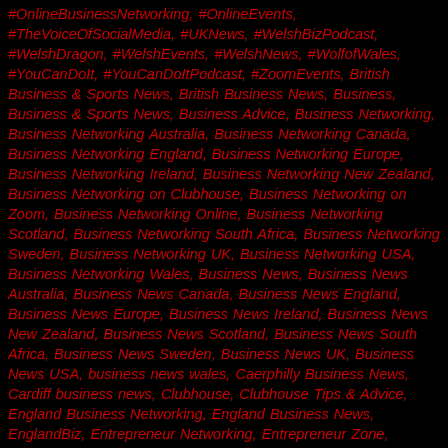#OnlineBusinessNetworking, #OnlineEvents, #TheVoiceOfSocialMedia, #UKNews, #WelshBizPodcast, #WelshDragon, #WelshEvents, #WelshNews, #WolfofWales, #YouCanDoIt, #YouCanDoItPodcast, #ZoomEvents, British Business & Sports News, British Business News, Business, Business & Sports News, Business Advice, Business Networking, Business Networking Australia, Business Networking Canada, Business Networking England, Business Networking Europe, Business Networking Ireland, Business Networking New Zealand, Business Networking on Clubhouse, Business Networking on Zoom, Business Networking Online, Business Networking Scotland, Business Networking South Africa, Business Networking Sweden, Business Networking UK, Business Networking USA, Business Networking Wales, Business News, Business News Australia, Business News Canada, Business News England, Business News Europe, Business News Ireland, Business News New Zealand, Business News Scotland, Business News South Africa, Business News Sweden, Business News UK, Business News USA, business news wales, Caerphilly Business News, Cardiff business news, Clubhouse, Clubhouse Tips & Advice, England Business Networking, England Business News, EnglandBiz, Entrepreneur Networking, Entrepreneur Zone, Entrepreneurs, Entrepreneurship, European Business Networking, European Business News, EuropeanBiz, Global Business & Sports News, Global Business Networking, Global Business News, Global Networkers, Global Networking, Global Podcast, GlobalBiz, GlobalBiz Podcast, International Business Networking,